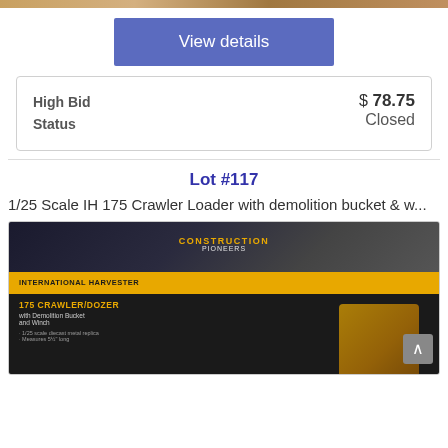[Figure (photo): Top strip image of an auction item (partial view at top of page)]
View details
| High Bid | $ 78.75 |
| Status | Closed |
Lot #117
1/25 Scale IH 175 Crawler Loader with demolition bucket & w...
[Figure (photo): Photo of a 1/25 Scale IH 175 Crawler/Dozer box with demolition bucket and winch, showing Construction Pioneers branding and International Harvester box art in dark and orange colors]